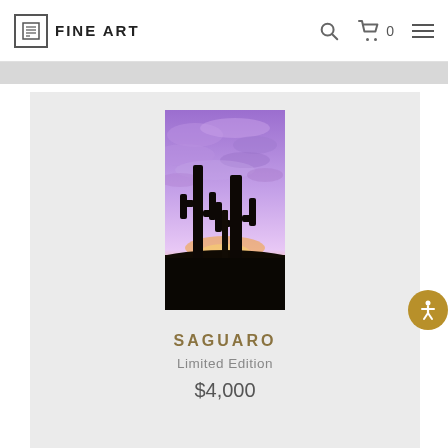FINE ART
[Figure (photo): Tall saguaro cactus silhouettes against a dramatic purple and pink sunset sky with clouds]
SAGUARO
Limited Edition
$4,000